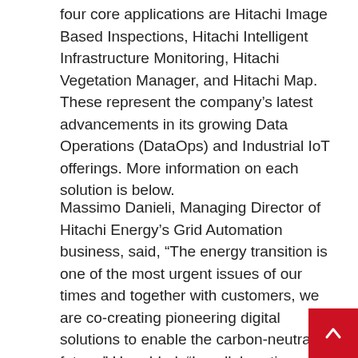four core applications are Hitachi Image Based Inspections, Hitachi Intelligent Infrastructure Monitoring, Hitachi Vegetation Manager, and Hitachi Map. These represent the company's latest advancements in its growing Data Operations (DataOps) and Industrial IoT offerings. More information on each solution is below.
Massimo Danieli, Managing Director of Hitachi Energy's Grid Automation business, said, “The energy transition is one of the most urgent issues of our times and together with customers, we are co-creating pioneering digital solutions to enable the carbon-neutral future.” He added, “In collaboration with Hitachi Vantara, we are delighted to launch the Lumada Inspection Insights portfolio, which gives industrial organizations the tools they need to get the right information to the right teams